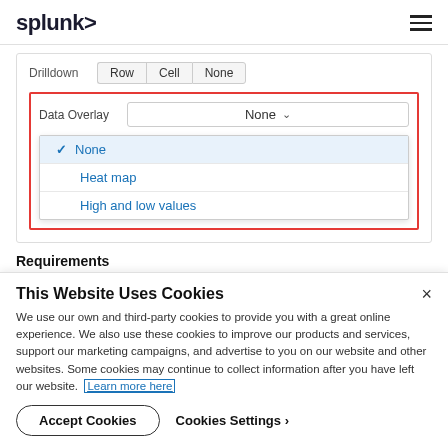splunk>
[Figure (screenshot): Splunk UI showing a Drilldown toggle (Row, Cell, None buttons) and a Data Overlay dropdown with options: None (selected, checked), Heat map, High and low values. The Data Overlay section is outlined in red.]
Requirements
This Website Uses Cookies
We use our own and third-party cookies to provide you with a great online experience. We also use these cookies to improve our products and services, support our marketing campaigns, and advertise to you on our website and other websites. Some cookies may continue to collect information after you have left our website. Learn more here
Accept Cookies   Cookies Settings ›